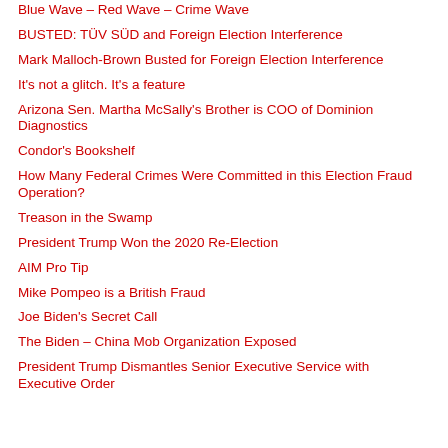Blue Wave – Red Wave – Crime Wave
BUSTED: TÜV SÜD and Foreign Election Interference
Mark Malloch-Brown Busted for Foreign Election Interference
It's not a glitch. It's a feature
Arizona Sen. Martha McSally's Brother is COO of Dominion Diagnostics
Condor's Bookshelf
How Many Federal Crimes Were Committed in this Election Fraud Operation?
Treason in the Swamp
President Trump Won the 2020 Re-Election
AIM Pro Tip
Mike Pompeo is a British Fraud
Joe Biden's Secret Call
The Biden – China Mob Organization Exposed
President Trump Dismantles Senior Executive Service with Executive Order